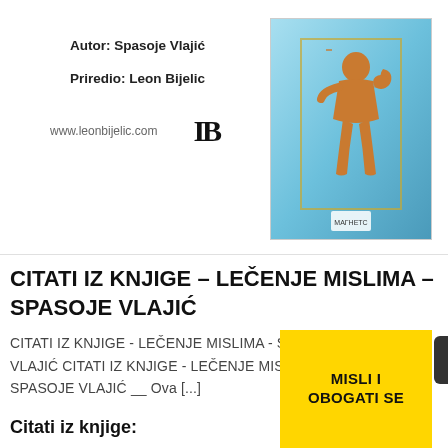Autor: Spasoje Vlajić
Priredio: Leon Bijelic
www.leonbijelic.com
[Figure (illustration): Book cover with Rodin's Thinker sculpture on blue background]
CITATI IZ KNJIGE – LEČENJE MISLIMA – SPASOJE VLAJIĆ
CITATI IZ KNJIGE - LEČENJE MISLIMA - SPASOJE VLAJIĆ CITATI IZ KNJIGE - LEČENJE MISLIMA - SPASOJE VLAJIĆ __ Ova [...]
Citati iz knjige:
[Figure (illustration): Yellow book cover with text MISLI I OBOGATI SE]